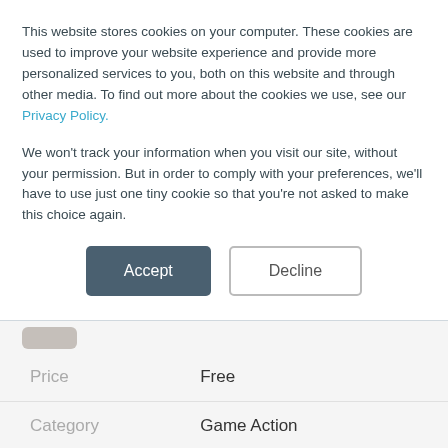This website stores cookies on your computer. These cookies are used to improve your website experience and provide more personalized services to you, both on this website and through other media. To find out more about the cookies we use, see our Privacy Policy.
We won't track your information when you visit our site, without your permission. But in order to comply with your preferences, we'll have to use just one tiny cookie so that you're not asked to make this choice again.
Accept
Decline
|  |  |
| --- | --- |
| Price | Free |
| Category | Game Action |
Write a review